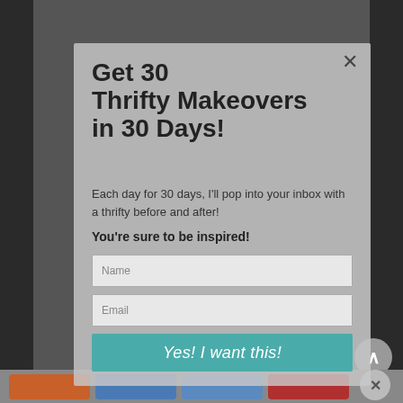[Figure (screenshot): Dark background image of a person, partially visible, behind a semi-transparent modal popup overlay.]
Get 30 Thrifty Makeovers in 30 Days!
Each day for 30 days, I'll pop into your inbox with a thrifty before and after!
You're sure to be inspired!